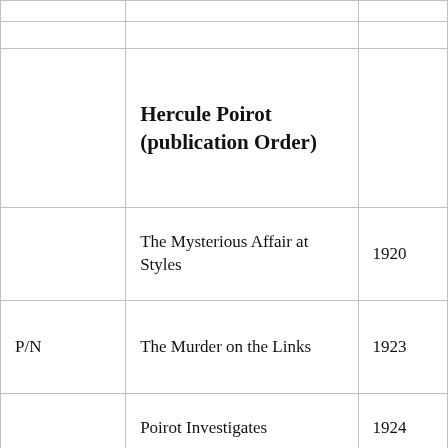|  | Hercule Poirot (publication Order) |  |
| --- | --- | --- |
|  |  |  |
|  |  |  |
|  | Hercule Poirot (publication Order) |  |
|  | The Mysterious Affair at Styles | 1920 |
| P/N | The Murder on the Links | 1923 |
|  | Poirot Investigates | 1924 |
| P/N | The Murder of Roger Ackroyd | 1926 |
| P/N | The Big Four | 1927 |